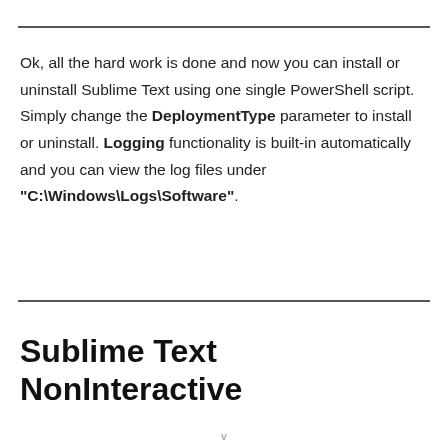Ok, all the hard work is done and now you can install or uninstall Sublime Text using one single PowerShell script. Simply change the DeploymentType parameter to install or uninstall. Logging functionality is built-in automatically and you can view the log files under “C:\Windows\Logs\Software”.
Sublime Text NonInteractive